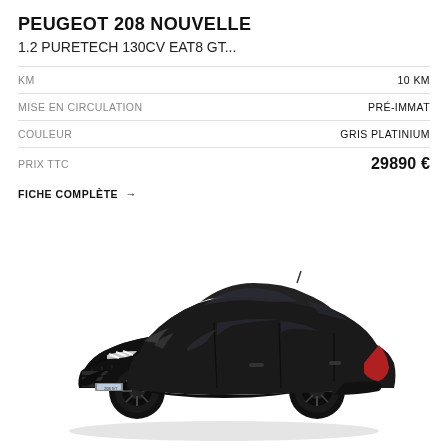PEUGEOT 208 NOUVELLE
1.2 PURETECH 130CV EAT8 GT...
|  |  |
| --- | --- |
| KM | 10 km |
| MISE EN CIRCULATION | PRÉ-IMMAT |
| COULEUR | GRIS PLATINIUM |
| PRIX TTC | 29890 € |
FICHE COMPLÈTE →
[Figure (photo): Black Peugeot 208 GT car, three-quarter front view, on white background]